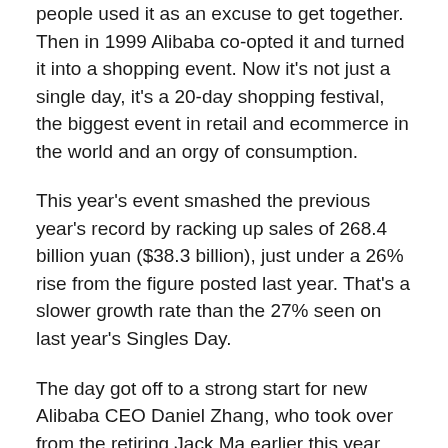people used it as an excuse to get together. Then in 1999 Alibaba co-opted it and turned it into a shopping event. Now it's not just a single day, it's a 20-day shopping festival, the biggest event in retail and ecommerce in the world and an orgy of consumption.
This year's event smashed the previous year's record by racking up sales of 268.4 billion yuan ($38.3 billion), just under a 26% rise from the figure posted last year. That's a slower growth rate than the 27% seen on last year's Singles Day.
The day got off to a strong start for new Alibaba CEO Daniel Zhang, who took over from the retiring Jack Ma earlier this year.
Sales hit $12.01 billion in the first hour. Within an hour and a half, Alibaba's sales exceeded the total reached on Singles Day in 2016. Alibaba also set a world record for most payment transactions with